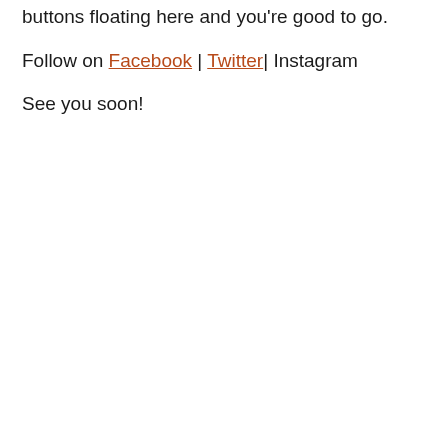buttons floating here and you're good to go.
Follow on Facebook | Twitter| Instagram
See you soon!